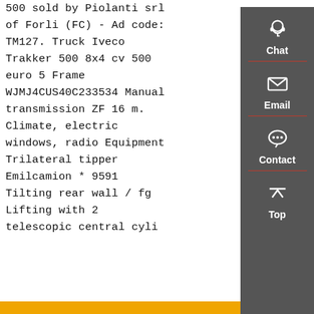500 sold by Piolanti srl of Forli (FC) - Ad code: TM127. Truck Iveco Trakker 500 8x4 cv 500 euro 5 Frame WJMJ4CUS40C233534 Manual transmission ZF 16 m. Climate, electric windows, radio Equipment Trilateral tipper Emilcamion * 9591 Tilting rear wall / f...g Lifting with 2 telescopic central cyli
[Figure (other): Sidebar with dark gray background containing four items: Chat (headset icon), Email (envelope icon), Contact (speech bubble icon), Top (up arrow icon), each separated by red horizontal lines.]